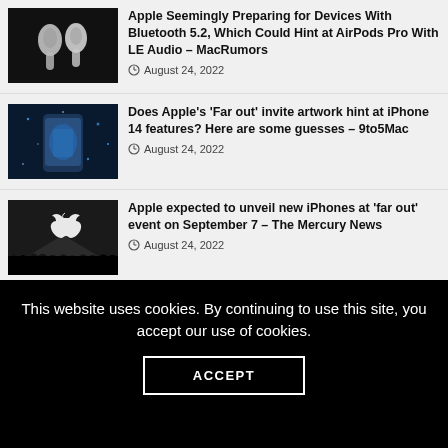Apple Seemingly Preparing for Devices With Bluetooth 5.2, Which Could Hint at AirPods Pro With LE Audio – MacRumors
August 24, 2022
Does Apple's 'Far out' invite artwork hint at iPhone 14 features? Here are some guesses – 9to5Mac
August 24, 2022
Apple expected to unveil new iPhones at 'far out' event on September 7 – The Mercury News
August 24, 2022
Apple to hold its next event on September 7 at Apple Park – GSMArena.com news – GSMArena.com
This website uses cookies. By continuing to use this site, you accept our use of cookies.
ACCEPT